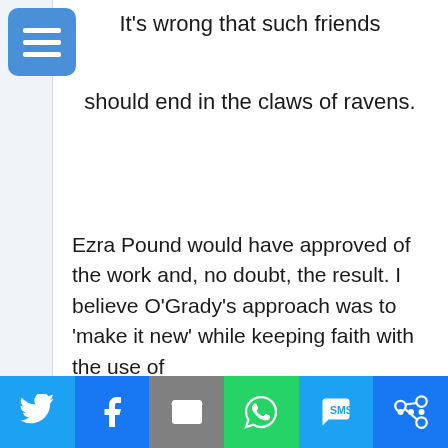[Figure (other): Blue square menu/hamburger icon with three white horizontal lines]
It's wrong that such friends should end in the claws of ravens.
Ezra Pound would have approved of the work and, no doubt, the result. I believe O'Grady's approach was to 'make it new' while keeping faith with the use of
precise images and gestures to embody a vision which is neither his property nor
Social share bar: Twitter, Facebook, Email, WhatsApp, SMS, More